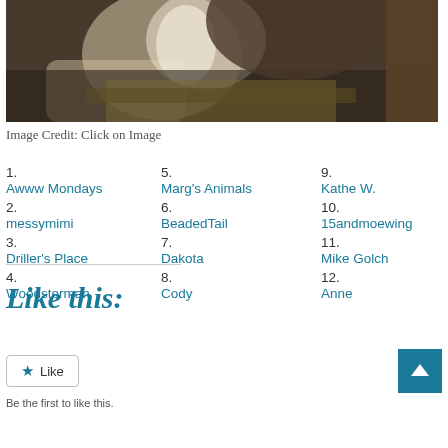[Figure (photo): Close-up photo of a fluffy cat with white chest fur, resting on a patterned surface]
Image Credit: Click on Image
1. Awww Mondays
2. messymimi
3. Driller's Place
4. Woodsterman
5. Marg's Animals
6. BeadedTail
7. Dakota
8. Cody
9. Kathe W.
10. 15andmoewing
11. Mike Golch
12. Anne
Like this:
Be the first to like this.